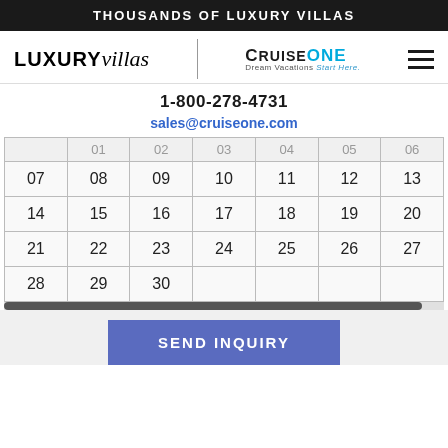THOUSANDS OF LUXURY VILLAS
[Figure (logo): LUXURYvillas logo with CruiseOne Dream Vacations logo and hamburger menu icon]
1-800-278-4731
sales@cruiseone.com
|  |  |  |  |  |  |  |
| --- | --- | --- | --- | --- | --- | --- |
| 01 | 02 | 03 | 04 | 05 | 06 |  |
| 07 | 08 | 09 | 10 | 11 | 12 | 13 |
| 14 | 15 | 16 | 17 | 18 | 19 | 20 |
| 21 | 22 | 23 | 24 | 25 | 26 | 27 |
| 28 | 29 | 30 |  |  |  |  |
SEND INQUIRY